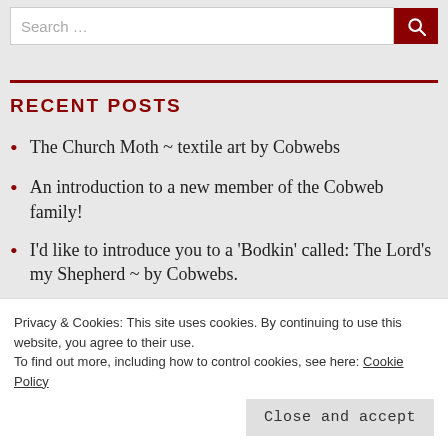[Figure (other): Search bar with text input showing 'Search …' placeholder and a dark red search button with magnifying glass icon]
RECENT POSTS
The Church Moth ~ textile art by Cobwebs
An introduction to a new member of the Cobweb family!
I'd like to introduce you to a 'Bodkin' called: The Lord's my Shepherd ~ by Cobwebs.
Privacy & Cookies: This site uses cookies. By continuing to use this website, you agree to their use.
To find out more, including how to control cookies, see here: Cookie Policy
Close and accept